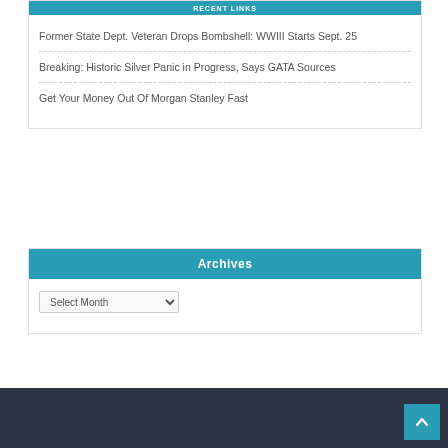RECENT LINKS
Former State Dept. Veteran Drops Bombshell: WWIII Starts Sept. 25
Breaking: Historic Silver Panic in Progress, Says GATA Sources
Get Your Money Out Of Morgan Stanley Fast
Archives
Select Month
↑